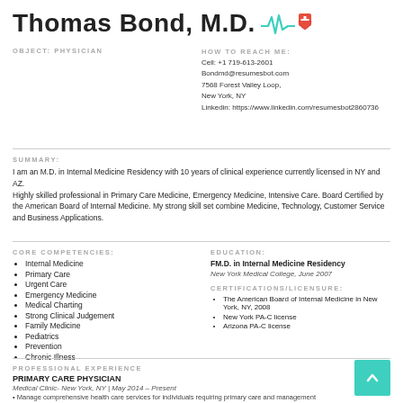Thomas Bond, M.D.
OBJECT: PHYSICIAN
HOW TO REACH ME:
Cell: +1 719-613-2601
Bondmd@resumesbot.com
7568 Forest Valley Loop,
New York, NY
Linkedin: https://www.linkedin.com/resumesbot2860736
SUMMARY:
I am an M.D. in Internal Medicine Residency with 10 years of clinical experience currently licensed in NY and AZ.
Highly skilled professional in Primary Care Medicine, Emergency Medicine, Intensive Care. Board Certified by the American Board of Internal Medicine. My strong skill set combine Medicine, Technology, Customer Service and Business Applications.
CORE COMPETENCIES:
Internal Medicine
Primary Care
Urgent Care
Emergency Medicine
Medical Charting
Strong Clinical Judgement
Family Medicine
Pediatrics
Prevention
Chronic Illness
EDUCATION:
FM.D. in Internal Medicine Residency
New York Medical College, June 2007
CERTIFICATIONS/LICENSURE:
The American Board of Internal Medicine in New York, NY, 2008
New York PA-C license
Arizona PA-C license
PROFESSIONAL EXPERIENCE
PRIMARY CARE PHYSICIAN
Medical Clinic- New York, NY | May 2014 – Present
• Manage comprehensive health care services for individuals requiring primary care and management